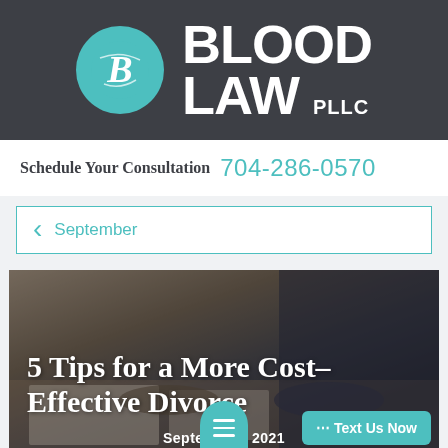[Figure (logo): Blood Law PLLC logo: teal circle with stylized B, next to bold white text BLOOD LAW PLLC on dark gray background]
Schedule Your Consultation  704-286-0570
< September
[Figure (photo): Photo of two people shaking hands over documents at a desk, with article title '5 Tips for a More Cost-Effective Divorce' overlaid in white text, and date 'September [?] 2021' at the bottom]
5 Tips for a More Cost-Effective Divorce
September  2021